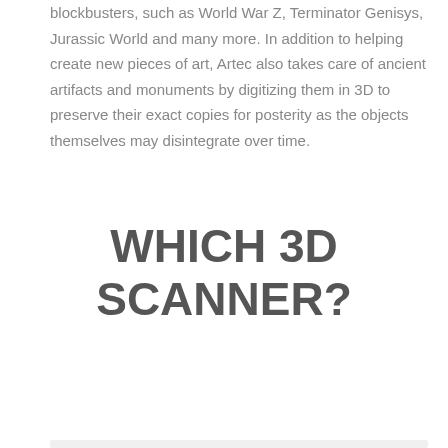blockbusters, such as World War Z, Terminator Genisys, Jurassic World and many more. In addition to helping create new pieces of art, Artec also takes care of ancient artifacts and monuments by digitizing them in 3D to preserve their exact copies for posterity as the objects themselves may disintegrate over time.
WHICH 3D SCANNER?